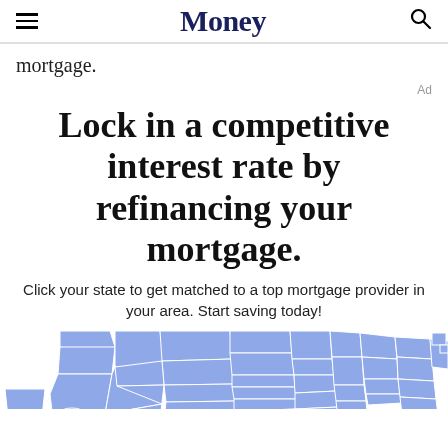Money
mortgage.
Ad
Lock in a competitive interest rate by refinancing your mortgage.
Click your state to get matched to a top mortgage provider in your area. Start saving today!
[Figure (map): Outline map of the United States with states filled in light blue/periwinkle color with white state borders, partially cropped at the bottom of the page.]